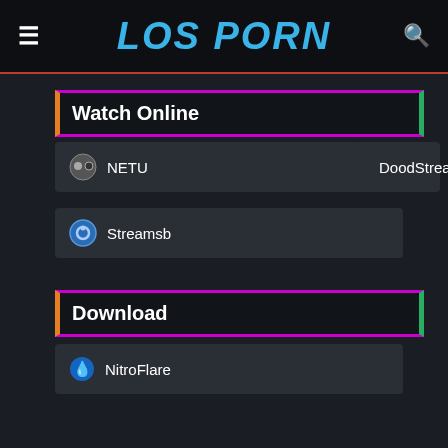LOS PORN
Watch Online
NETU
DoodStream
Streamsb
Download
NitroFlare